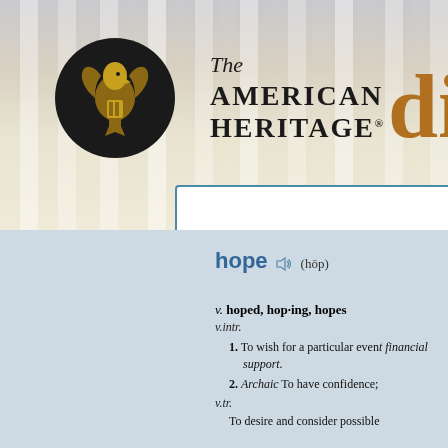[Figure (screenshot): The American Heritage Dictionary banner header with eagle logo, title text, and 'di' in gold. Includes a search box below.]
HOW TO USE THE DICTIONARY
To look up an entry in The American Heritage Dictionary of the English Language, use the search window above. For best
hope (hōp)
v. hoped, hop·ing, hopes
v.intr.
1. To wish for a particular event... financial support.
2. Archaic To have confidence;
v.tr.
To desire and consider possible